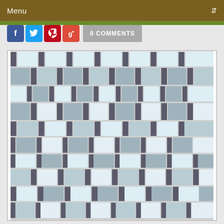Menu
[Figure (screenshot): Social media share buttons: Facebook, Twitter, Pinterest, Google+, and 0 COMMENTS button]
[Figure (photo): Mosaic tile pattern with mixed grey marble, white glass, and dark grey/charcoal rectangular tiles arranged in a repeating geometric pattern]